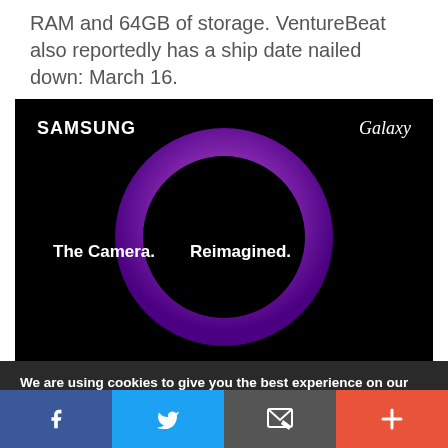RAM and 64GB of storage. VentureBeat also reportedly has a ship date nailed down: March 16.
[Figure (screenshot): Samsung Galaxy teaser image on black background with a purple ring/circle. Text reads 'SAMSUNG' top left, 'Galaxy' top right, 'The Camera.' bottom left, 'Reimagined.' center.]
We are using cookies to give you the best experience on our website.
You can find out more about which cookies we are using or switch them off in settings.
[Figure (other): Social share bar with four buttons: Facebook (blue), Twitter (light blue), Email/envelope (gray), Plus/more (orange-red).]